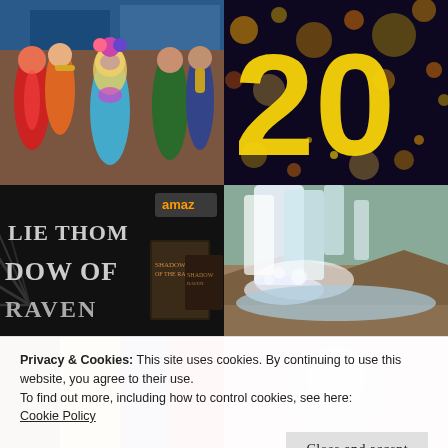[Figure (photo): Mardi Gras parade scene with colorful costumed revelers, a woman in a mermaid costume with beads, musicians with brass instruments, on a crowded street.]
[Figure (photo): Dark background with glowing bokeh lights and a large yellow '20' text, appears to be a New Year celebration graphic.]
[Figure (photo): Book promotional image for 'Shadow of the Raven' by Lillie Thom, dark cover with Amazon branding and book cover thumbnails shown on a tablet/device.]
[Figure (photo): Waterfall cascading over rocky terrain with white rushing water, close-up action shot.]
[Figure (photo): Partial view of a colorful bottom-left image, partially obscured by cookie banner.]
[Figure (photo): Partial view of a bottom-right image, partially obscured by cookie banner.]
Privacy & Cookies: This site uses cookies. By continuing to use this website, you agree to their use.
To find out more, including how to control cookies, see here:
Cookie Policy
Close and accept